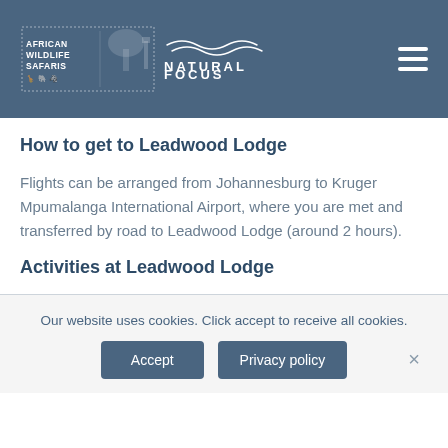African Wildlife Safaris | Natural Focus
How to get to Leadwood Lodge
Flights can be arranged from Johannesburg to Kruger Mpumalanga International Airport, where you are met and transferred by road to Leadwood Lodge (around 2 hours).
Activities at Leadwood Lodge
Our website uses cookies. Click accept to receive all cookies.
Accept   Privacy policy